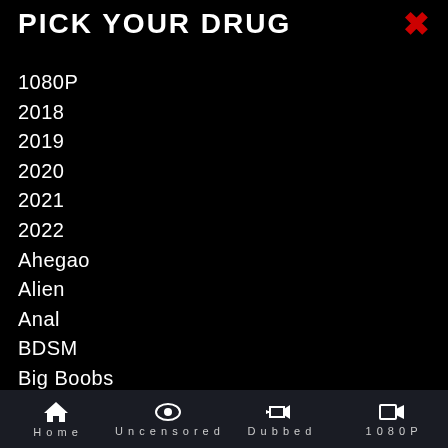PICK YOUR DRUG
1080P
2018
2019
2020
2021
2022
Ahegao
Alien
Anal
BDSM
Big Boobs
Blackmail
Blow Job
Home  Uncensored  Dubbed  1080P